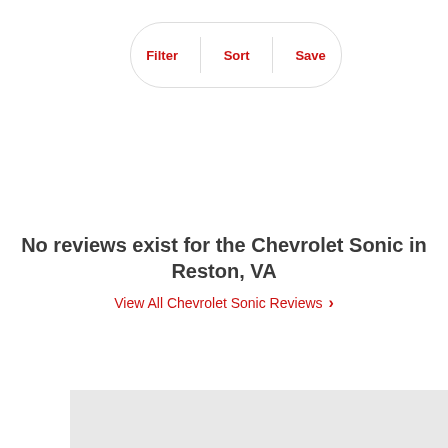[Figure (screenshot): Filter, Sort, Save button bar with rounded pill shape and red text labels separated by vertical dividers]
No reviews exist for the Chevrolet Sonic in Reston, VA
View All Chevrolet Sonic Reviews >